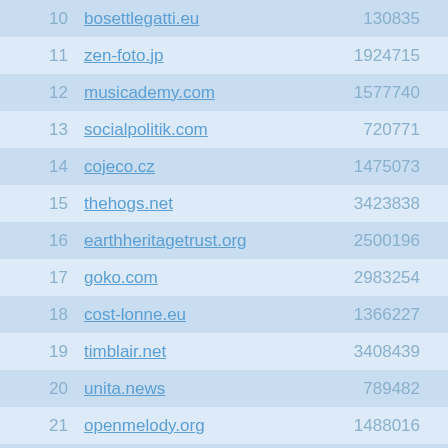| # | Domain | Col3 | Col4 | Col5 |
| --- | --- | --- | --- | --- |
| 10 | bosettlegatti.eu | 130835 | 625862 |  |
| 11 | zen-foto.jp | 1924715 | 625863 |  |
| 12 | musicademy.com | 1577740 | 625864 |  |
| 13 | socialpolitik.com | 720771 | 625865 |  |
| 14 | cojeco.cz | 1475073 | 625866 |  |
| 15 | thehogs.net | 3423838 | 625867 |  |
| 16 | earthheritagetrust.org | 2500196 | 625868 |  |
| 17 | goko.com | 2983254 | 625869 |  |
| 18 | cost-lonne.eu | 1366227 | 625870 |  |
| 19 | timblair.net | 3408439 | 625871 |  |
| 20 | unita.news | 789482 | 625872 |  |
| 21 | openmelody.org | 1488016 | 625873 |  |
| 22 | mitras.ru | 1970534 | 625874 |  |
| 23 | visitseminole.com | 4093647 | 625875 |  |
| 24 | orakeikorako.co.nz | 1744487 | 625876 |  |